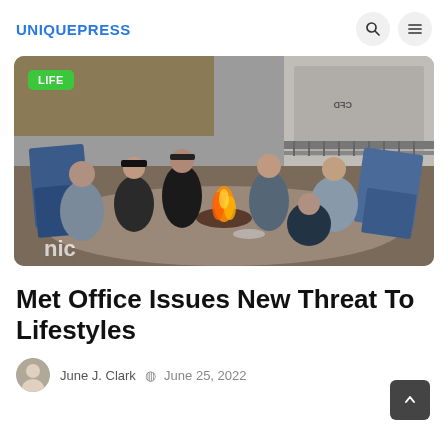UNIQUEPRESS
[Figure (photo): Group of young people sitting around a campfire outdoors on sandy ground, with blue deck chairs around them and a building in the background. There is a green LIFE badge overlaid on the top-left.]
Met Office Issues New Threat To Lifestyles
June J. Clark  June 25, 2022